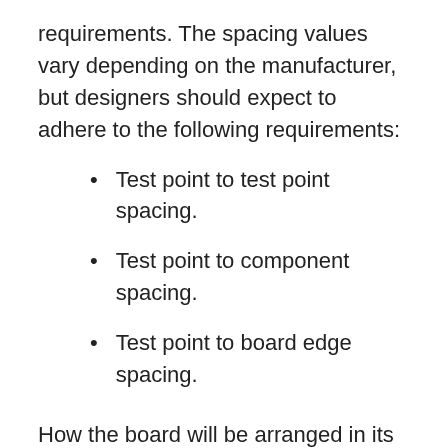requirements. The spacing values vary depending on the manufacturer, but designers should expect to adhere to the following requirements:
Test point to test point spacing.
Test point to component spacing.
Test point to board edge spacing.
How the board will be arranged in its manufacturing panel will also have an effect on how the components should be placed. Some panels will separate the boards using a scoring tool, and components need to be placed with